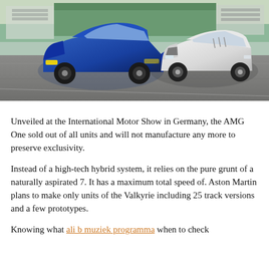[Figure (photo): Two supercars on a race track: a blue sports car (left) and a white Bugatti Centodieci (right), on a grey asphalt surface with green trees and grandstands in the background.]
Unveiled at the International Motor Show in Germany, the AMG One sold out of all units and will not manufacture any more to preserve exclusivity.
Instead of a high-tech hybrid system, it relies on the pure grunt of a naturally aspirated 7. It has a maximum total speed of. Aston Martin plans to make only units of the Valkyrie including 25 track versions and a few prototypes.
Knowing what ali b muziek programma when to check